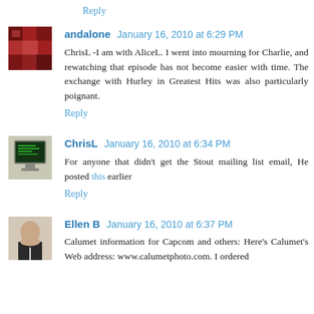Reply
andalone January 16, 2010 at 6:29 PM
ChrisL -I am with AliceL. I went into mourning for Charlie, and rewatching that episode has not become easier with time. The exchange with Hurley in Greatest Hits was also particularly poignant.
Reply
ChrisL January 16, 2010 at 6:34 PM
For anyone that didn't get the Stout mailing list email, He posted this earlier
Reply
Ellen B January 16, 2010 at 6:37 PM
Calumet information for Capcom and others: Here's Calumet's Web address: www.calumetphoto.com. I ordered